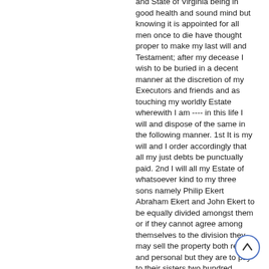and State of Virginia being in good health and sound mind but knowing it is appointed for all men once to die have thought proper to make my last will and Testament; after my decease I wish to be buried in a decent manner at the discretion of my Executors and friends and as touching my worldly Estate wherewith I am ---- in this life I will and dispose of the same in the following manner. 1st It is my will and I order accordingly that all my just debts be punctually paid. 2nd I will all my Estate of whatsoever kind to my three sons namely Philip Ekert Abraham Ekert and John Ekert to be equally divided amongst them or if they cannot agree among themselves to the division they may sell the property both real and personal but they are to pay to their sisters two hundred dollars each and in case of the